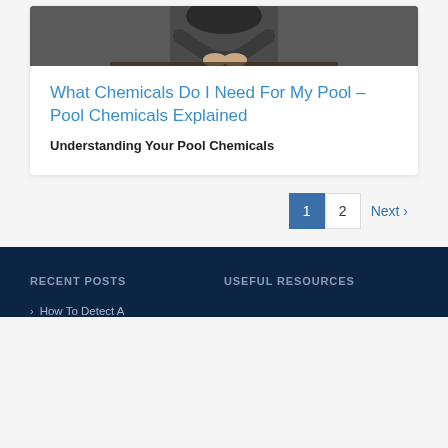[Figure (photo): Person in black shirt sitting at a table with hands gesturing, photographed from torso down, gray background]
What Chemicals Do I Need For My Pool – Pool Chemicals Explained
Understanding Your Pool Chemicals
Pagination: 1  2  Next >
RECENT POSTS
USEFUL RESOURCES
> How To Detect A